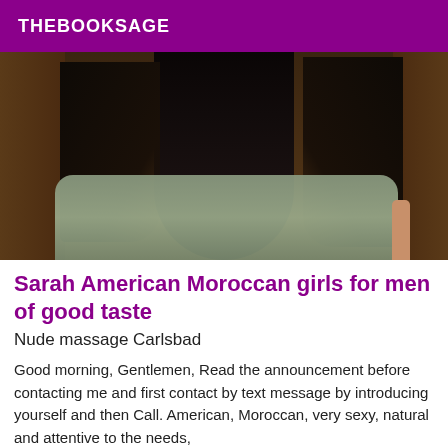THEBOOKSAGE
[Figure (photo): Back view of a person with long dark black hair wearing a grey patterned shirt, seated indoors.]
Sarah American Moroccan girls for men of good taste
Nude massage Carlsbad
Good morning, Gentlemen, Read the announcement before contacting me and first contact by text message by introducing yourself and then Call. American, Moroccan, very sexy, natural and attentive to the needs,